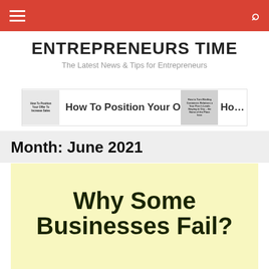ENTREPRENEURS TIME — The Latest News & Tips for Entrepreneurs
[Figure (screenshot): Navigation banner showing article preview: 'How To Position Your Offer To Increase Sales' with thumbnail images on left and partial second article on right]
Month: June 2021
Why Some Businesses Fail?